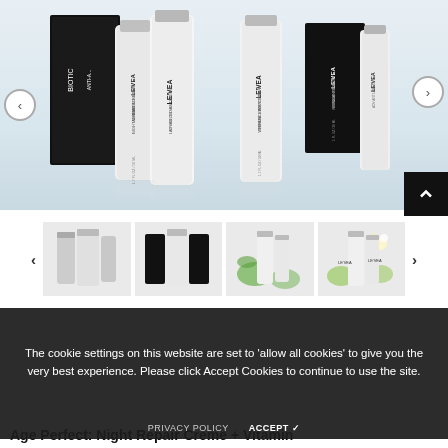[Figure (photo): LE'VEA Advanced Anti-Aging skincare product bottles and boxes displayed on light blue-grey background. Products include Biotic Repair Night Creme and C+ Antioxidant Wrinkle Reduction Serum.]
[Figure (photo): Row of four product thumbnail images showing LE'VEA skincare sets: grey/white set, black/white set with dark boxes, white bottles with green leaves, and white bottles with flowers.]
The cookie settings on this website are set to 'allow all cookies' to give you the very best experience. Please click Accept Cookies to continue to use the site.
PRIVACY POLICY    ACCEPT ✓
Age Perfect: Night Repair Creme + Vitamin